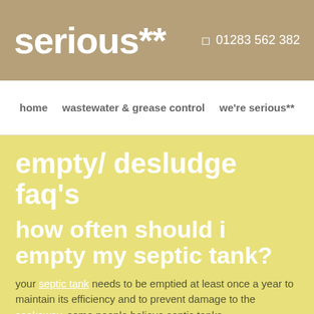serious**   01283 562 382
home   wastewater & grease control   we're serious**
empty/ desludge faq's
how often should i empty my septic tank?
your septic tank needs to be emptied at least once a year to maintain its efficiency and to prevent damage to the soakaway.  some people believe septic tanks